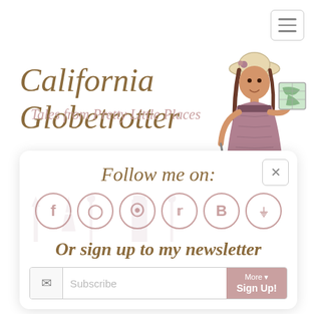[Figure (illustration): Hamburger menu button in top-right corner with three horizontal lines]
California Globetrotter
Tales from Pretty Little Places
[Figure (illustration): Cartoon illustration of a woman in a purple dress and hat holding a map and pulling a suitcase]
Follow me on:
[Figure (infographic): Social media icons: Facebook, Instagram, Pinterest, Twitter, Bloglovin, RSS]
Or sign up to my newsletter
Subscribe
More ▾ Sign Up!
Posted on June 15, 2017 by California Globetrotter